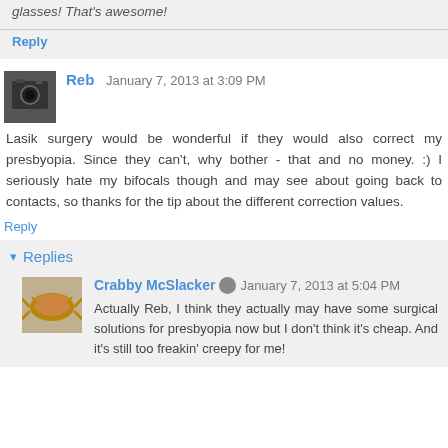glasses! That's awesome!
Reply
Reb  January 7, 2013 at 3:09 PM
Lasik surgery would be wonderful if they would also correct my presbyopia. Since they can't, why bother - that and no money. :) I seriously hate my bifocals though and may see about going back to contacts, so thanks for the tip about the different correction values.
Reply
Replies
Crabby McSlacker  January 7, 2013 at 5:04 PM
Actually Reb, I think they actually may have some surgical solutions for presbyopia now but I don't think it's cheap. And it's still too freakin' creepy for me!